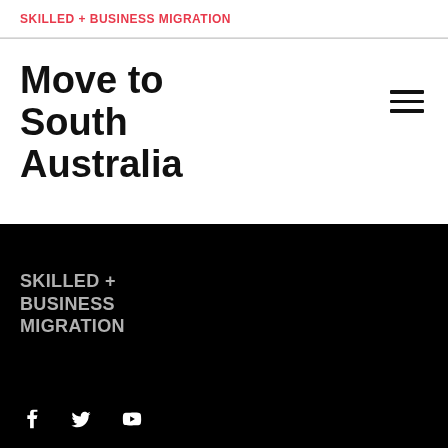SKILLED + BUSINESS MIGRATION
Move to South Australia
[Figure (illustration): Hamburger menu icon (three horizontal lines) in top-right area of white section]
SKILLED + BUSINESS MIGRATION
[Figure (logo): Social media icons: Facebook, Twitter, YouTube — white on black background]